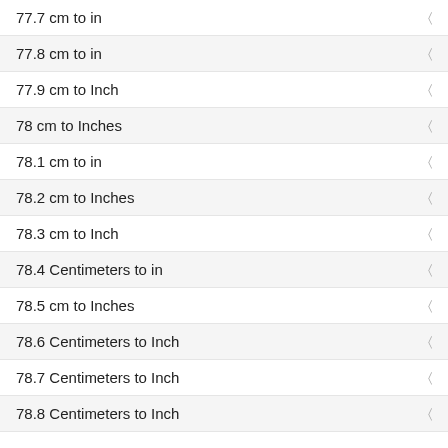77.7 cm to in
77.8 cm to in
77.9 cm to Inch
78 cm to Inches
78.1 cm to in
78.2 cm to Inches
78.3 cm to Inch
78.4 Centimeters to in
78.5 cm to Inches
78.6 Centimeters to Inch
78.7 Centimeters to Inch
78.8 Centimeters to Inch